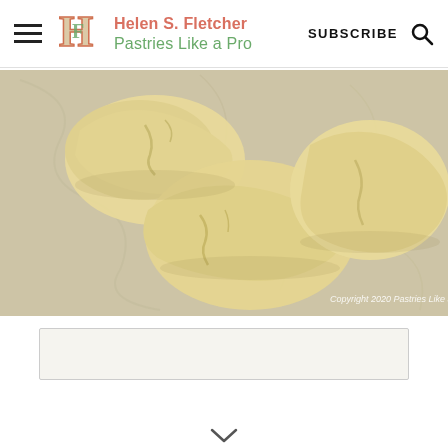Helen S. Fletcher Pastries Like a Pro — SUBSCRIBE
[Figure (photo): Three lumps of pale yellow/cream pie or pastry dough on a marble or floured surface. Copyright watermark reads 'Copyright 2020 Pastries Like a Pro']